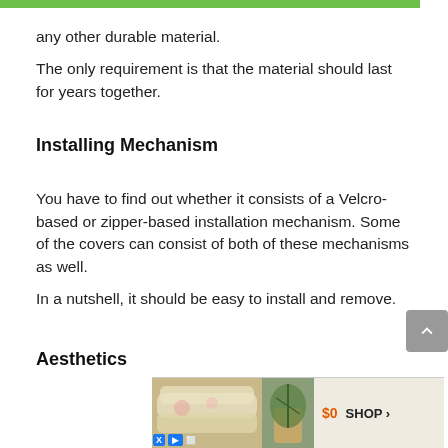any other durable material.
The only requirement is that the material should last for years together.
Installing Mechanism
You have to find out whether it consists of a Velcro-based or zipper-based installation mechanism. Some of the covers can consist of both of these mechanisms as well.
In a nutshell, it should be easy to install and remove.
Aesthetics
[Figure (other): Advertisement banner showing bedding/pillows product with price $0 and SHOP button]